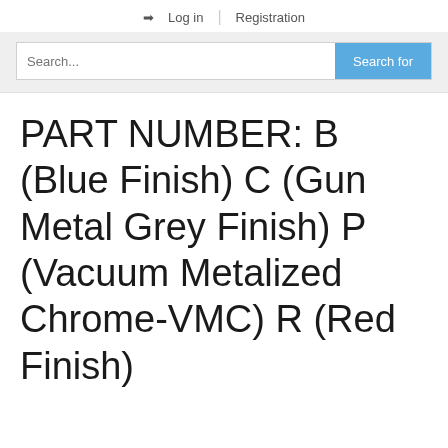➜ Log in | Registration
Search...
PART NUMBER: B (Blue Finish) C (Gun Metal Grey Finish) P (Vacuum Metalized Chrome-VMC) R (Red Finish)